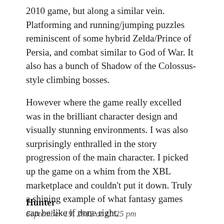2010 game, but along a similar vein. Platforming and running/jumping puzzles reminiscent of some hybrid Zelda/Prince of Persia, and combat similar to God of War. It also has a bunch of Shadow of the Colossus-style climbing bosses.
However where the game really excelled was in the brilliant character design and visually stunning environments. I was also surprisingly enthralled in the story progression of the main character. I picked up the game on a whim from the XBL marketplace and couldn't put it down. Truly a shining example of what fantasy games can be like if done right.
-L
Hunter
September 19, 2012 at 11:25 pm